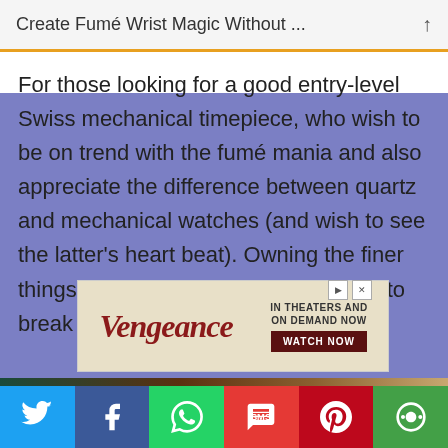Create Fumé Wrist Magic Without ...
For those looking for a good entry-level Swiss mechanical timepiece, who wish to be on trend with the fumé mania and also appreciate the difference between quartz and mechanical watches (and wish to see the latter's heart beat). Owning the finer things in life doesn't necessarily have to break the bank.
[Figure (other): Advertisement banner for 'Vengeance' movie — IN THEATERS AND ON DEMAND NOW, WATCH NOW button]
[Figure (photo): Partial photo strip showing dark clothing and brown tones, with text 'BUICK' partially visible]
Social sharing bar with Twitter, Facebook, WhatsApp, SMS, Pinterest, More buttons